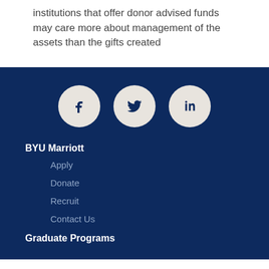institutions that offer donor advised funds may care more about management of the assets than the gifts created
[Figure (illustration): Three social media icons (Facebook, Twitter, LinkedIn) as white circles with dark navy icons on a dark navy background]
BYU Marriott
Apply
Donate
Recruit
Contact Us
Graduate Programs